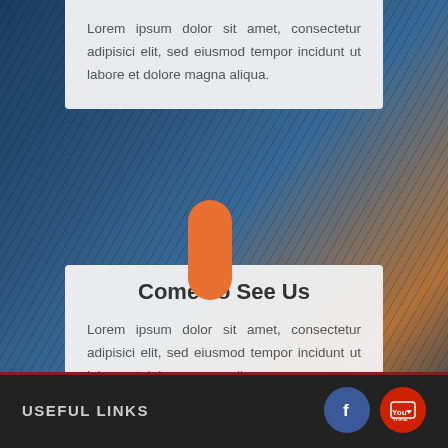Lorem ipsum dolor sit amet, consectetur adipisici elit, sed eiusmod tempor incidunt ut labore et dolore magna aliqua.
[Figure (illustration): Orange pill/capsule shape connector between two white cards]
Come To See Us
Lorem ipsum dolor sit amet, consectetur adipisici elit, sed eiusmod tempor incidunt ut labore et dolore magna aliqua.
USEFUL LINKS